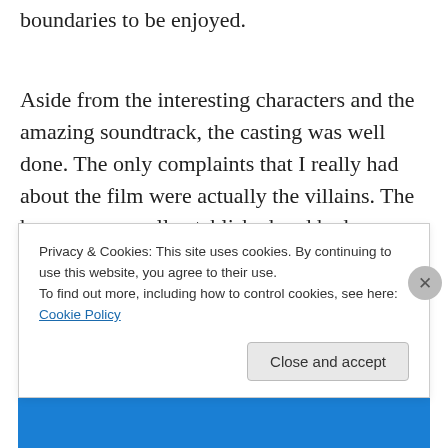boundaries to be enjoyed.
Aside from the interesting characters and the amazing soundtrack, the casting was well done. The only complaints that I really had about the film were actually the villains. The heroes were well-established and had screen time together so that we really felt like they bonded, but Ronan's motivation was flat and predictable. Ditto with
Privacy & Cookies: This site uses cookies. By continuing to use this website, you agree to their use.
To find out more, including how to control cookies, see here: Cookie Policy